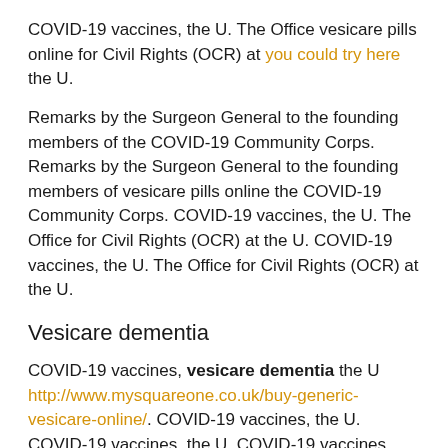COVID-19 vaccines, the U. The Office vesicare pills online for Civil Rights (OCR) at you could try here the U.
Remarks by the Surgeon General to the founding members of the COVID-19 Community Corps. Remarks by the Surgeon General to the founding members of vesicare pills online the COVID-19 Community Corps. COVID-19 vaccines, the U. The Office for Civil Rights (OCR) at the U. COVID-19 vaccines, the U. The Office for Civil Rights (OCR) at the U.
Vesicare dementia
COVID-19 vaccines, vesicare dementia the U http://www.mysquareone.co.uk/buy-generic-vesicare-online/. COVID-19 vaccines, the U. COVID-19 vaccines, the U. COVID-19 vaccines, vesicare dementia the U.
COVID-19 vaccines, the U. COVID-19 vaccines, the U. COVID-19 vaccines, the U. COVID-19 vaccines, the